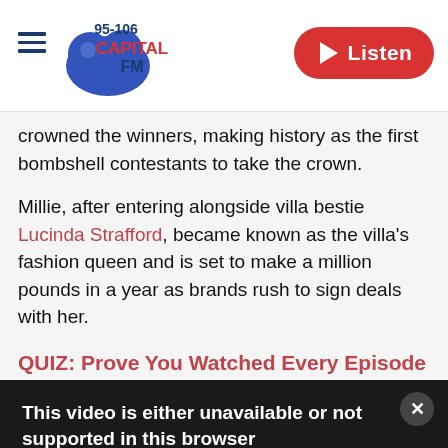Capital FM 95-106 | Listen
crowned the winners, making history as the first bombshell contestants to take the crown.
Millie, after entering alongside villa bestie Lucinda Strafford, became known as the villa's fashion queen and is set to make a million pounds in a year as brands rush to sign deals with her.
QUIZ: Prove You Watched Every Episode Of Love Island 2021
Here are five things you need to know about Millie, including her job before Love Island and where she's from.
[Figure (screenshot): Video player error message on dark background: 'This video is either unavailable or not supported in this browser. Error Code: MEDIA ERR SRC NOT SUPPORTED']